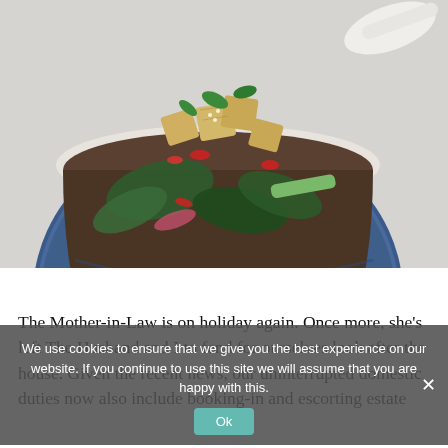[Figure (photo): A ceramic bowl with blue and white floral pattern filled with Asian-style soup containing tofu cubes, dark leafy greens, red chili slices, zucchini, and mushrooms, garnished with cilantro and sesame seeds. A white spoon is visible in the background on a light gray surface.]
Tweet
The Mother-in-Law is on holiday again. Once more, she's left The Husband and I to fend for ourselves look after the house. Given the recent news, our uninterrupted domestic duties now also include booking-in and escorting estate
We use cookies to ensure that we give you the best experience on our website. If you continue to use this site we will assume that you are happy with this.
Ok